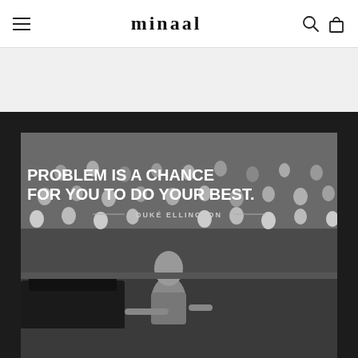minaal — navigation header with hamburger menu, logo, search and cart icons
[Figure (photo): Black and white photograph of Duke Ellington playing piano on stage before a large audience, with an overlaid motivational quote: 'PROBLEM IS A CHANCE FOR YOU TO DO YOUR BEST.' attributed to DUKE ELLINGTON]